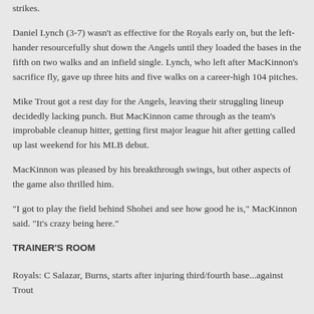strikes.
Daniel Lynch (3-7) wasn't as effective for the Royals early on, but the left-hander resourcefully shut down the Angels until they loaded the bases in the fifth on two walks and an infield single. Lynch, who left after MacKinnon's sacrifice fly, gave up three hits and five walks on a career-high 104 pitches.
Mike Trout got a rest day for the Angels, leaving their struggling lineup decidedly lacking punch. But MacKinnon came through as the team's improbable cleanup hitter, getting first major league hit after getting called up last weekend for his MLB debut.
MacKinnon was pleased by his breakthrough swings, but other aspects of the game also thrilled him.
"I got to play the field behind Shohei and see how good he is," MacKinnon said. "It's crazy being here."
TRAINER'S ROOM
Royals: C Salazar, Burns, starts after injuring third/fourth base...against Trout